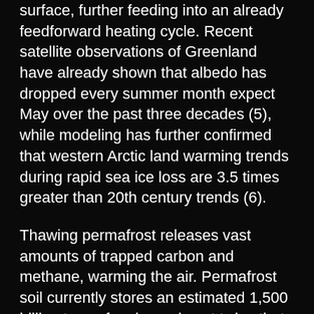surface, further feeding into an already feedforward heating cycle. Recent satellite observations of Greenland have already shown that albedo has dropped every summer month expect May over the past three decades (5), while modeling has further confirmed that western Arctic land warming trends during rapid sea ice loss are 3.5 times greater than 20th century trends (6).
Thawing permafrost releases vast amounts of trapped carbon and methane, warming the air. Permafrost soil currently stores an estimated 1,500 billion tons of carbon, almost twice that in the atmosphere, the microbial respiration of organic matter within which, as it thaws, releases this carbon as methane or carbon dioxide into the atmosphere (7). Soaking up the energy of incoming sunlight, these gases re–emit it back out in all directions – half of which returns to space and half of which heads back down to Earth, triggering the cycle all over again. In the end, the carbon cycle feedback loops of the melting permafrost could double the warming effects